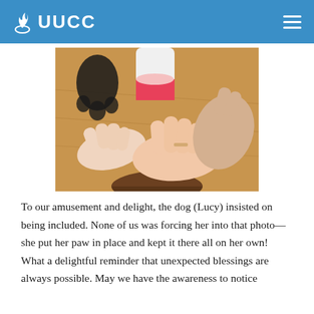UUCC
[Figure (photo): Multiple hands placed together on a surface, including a dog's black paw, an ankle with a pink-soled white sock, and several human hands on a wooden floor. A brown bowl is visible at the bottom.]
To our amusement and delight, the dog (Lucy) insisted on being included. None of us was forcing her into that photo—she put her paw in place and kept it there all on her own! What a delightful reminder that unexpected blessings are always possible. May we have the awareness to notice